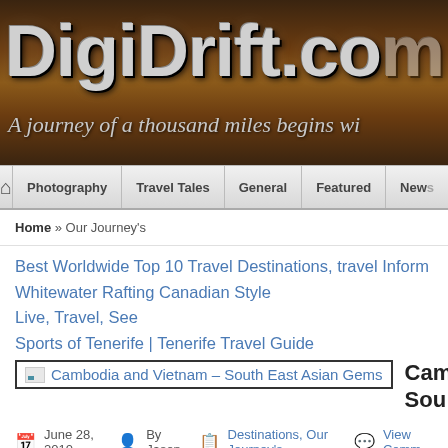[Figure (screenshot): DigiDrift.com website header banner with dark brown wood-grain background, large stylized site logo text 'DigiDrift.com' and tagline 'A journey of a thousand miles begins w...']
Photography | Travel Tales | General | Featured | News
Home » Our Journey's
Best Worldwide Top 10 Travel Destinations, travel Inform
Whitewater Rafting Canadian Style
Live, Travel, See
Sports of Tenerife | Tenerife Travel Guide
Cambodia and Vietnam – South East Asian Gems
Camb... Sou...
June 28, 2010   By Jason   Destinations, Our Journey's   View Comm...
A trip overview of our time in Vietnam and Cambodia in 2006, including time spe... complex. We also visited Vietnams Mekong Delta region, and the UNSECO liste...